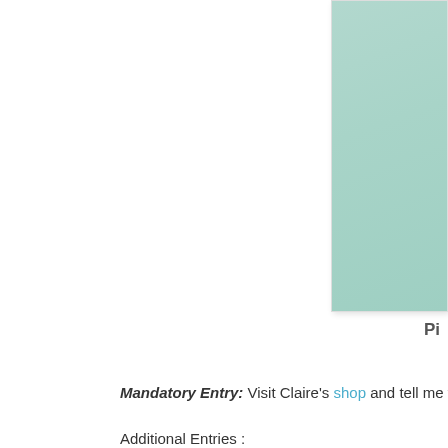[Figure (illustration): Partial view of a mint/seafoam green colored image or product photo, cropped at the right side of the page]
Pi
Mandatory Entry: Visit Claire's shop and tell me which of her items you lik
Additional Entries :
- Follow my blog (how else are you going to know if you win?)
- Follow Claire's blog
- Follow me on Twitter